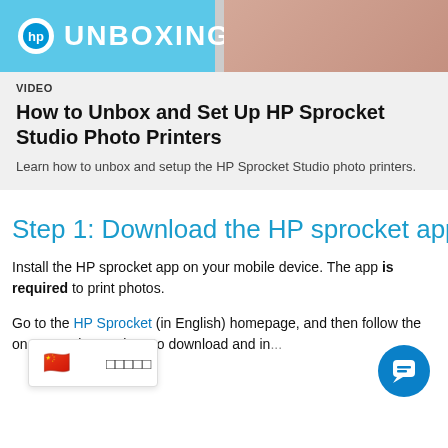[Figure (screenshot): HP Unboxing video thumbnail with HP logo on blue background and hand/skin tone on the right side]
VIDEO
How to Unbox and Set Up HP Sprocket Studio Photo Printers
Learn how to unbox and setup the HP Sprocket Studio photo printers.
Step 1: Download the HP sprocket app
Install the HP sprocket app on your mobile device. The app is required to print photos.
Go to the HP Sprocket (in English) homepage, and then follow the on-screen instructions to download and install the app.
[Figure (screenshot): Language selection popup with Chinese flag emoji and Chinese characters, and a blue chat button in the bottom right corner]